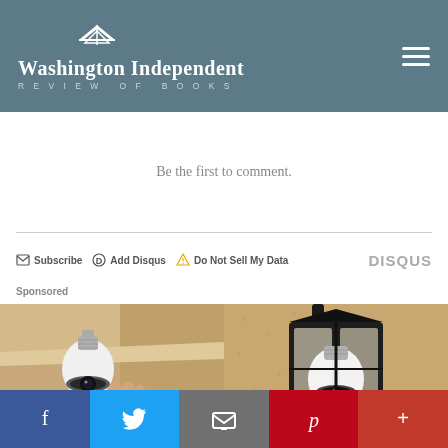Washington Independent REVIEW OF BOOKS
Be the first to comment.
Subscribe  Add Disqus  Do Not Sell My Data  DISQUS
Sponsored
[Figure (photo): Two sponsored advertisement images showing light bulb products. Left image: a hand holding a white smart light bulb. Right image: an outdoor wall lantern fixture with a white smart bulb installed.]
f  Twitter  Email  Pinterest  +